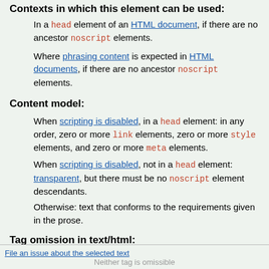Contexts in which this element can be used:
In a head element of an HTML document, if there are no ancestor noscript elements.
Where phrasing content is expected in HTML documents, if there are no ancestor noscript elements.
Content model:
When scripting is disabled, in a head element: in any order, zero or more link elements, zero or more style elements, and zero or more meta elements.
When scripting is disabled, not in a head element: transparent, but there must be no noscript element descendants.
Otherwise: text that conforms to the requirements given in the prose.
Tag omission in text/html:
File an issue about the selected text
Neither tag is omissible